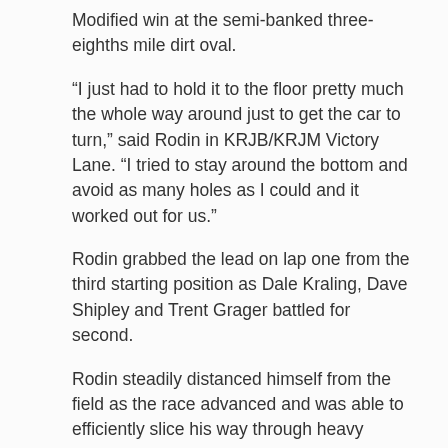Modified win at the semi-banked three-eighths mile dirt oval.
“I just had to hold it to the floor pretty much the whole way around just to get the car to turn,” said Rodin in KRJB/KRJM Victory Lane. “I tried to stay around the bottom and avoid as many holes as I could and it worked out for us.”
Rodin grabbed the lead on lap one from the third starting position as Dale Kraling, Dave Shipley and Trent Grager battled for second.
Rodin steadily distanced himself from the field as the race advanced and was able to efficiently slice his way through heavy lapped traffic.
The only thing that could slow Rodin was the caution flag, which flew with five laps remaining. Kraling and Shipley, both of which have feature wins at RRVS in 2017, lined up on the rear bumper of Rodin for the ensuing restart.